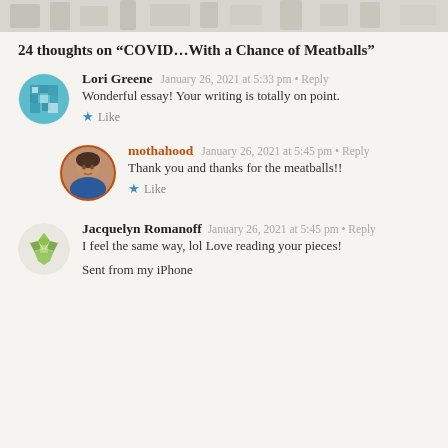[Figure (illustration): Decorative banner strip at top of page with illustrated figures]
24 thoughts on “COVID…With a Chance of Meatballs”
Lori Greene January 26, 2021 at 5:33 pm • Reply
Wonderful essay! Your writing is totally on point.
★ Like
mothahood January 26, 2021 at 5:45 pm • Reply
Thank you and thanks for the meatballs!!
★ Like
Jacquelyn Romanoff January 26, 2021 at 5:45 pm • Reply
I feel the same way, lol Love reading your pieces!

Sent from my iPhone